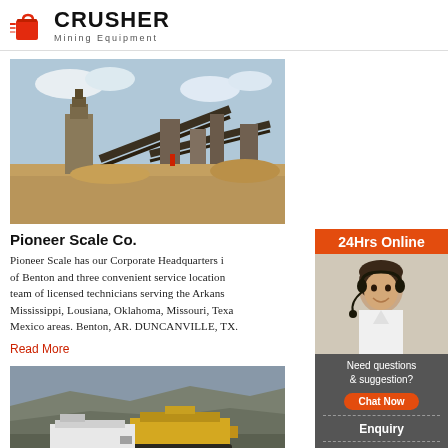CRUSHER Mining Equipment
[Figure (photo): Mining/crushing plant equipment with conveyor belts and dust in open area]
Pioneer Scale Co.
Pioneer Scale has our Corporate Headquarters in of Benton and three convenient service locations team of licensed technicians serving the Arkansas Mississippi, Lousiana, Oklahoma, Missouri, Texas Mexico areas. Benton, AR. DUNCANVILLE, TX.
Read More
[Figure (photo): Mining operation with large machinery on rocky terrain]
[Figure (photo): Customer service representative with headset - 24Hrs Online sidebar with chat option, Enquiry, and email limingjlmofen@sina.com]